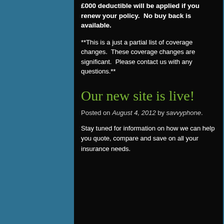£000 deductible will be applied if you renew your policy.  No buy back is available.
**This is a just a partial list of coverage changes.  These coverage changes are significant.  Please contact us with any questions.**
Our new site is live!
Posted on August 4, 2012 by savvyphone.
Stay tuned for information on how we can help you quote, compare and save on all your insurance needs.